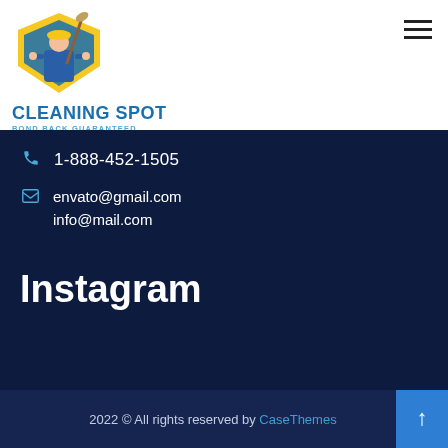[Figure (logo): Cleaning Spot logo: a cleaner figure in yellow shield, with broom/mop, wearing blue apron and yellow hard hat]
CLEANING SPOT
BOND BACK GUARANTEED
1-888-452-1505
envato@gmail.com
info@mail.com
Instagram
2022 © All rights reserved by CaseThemes